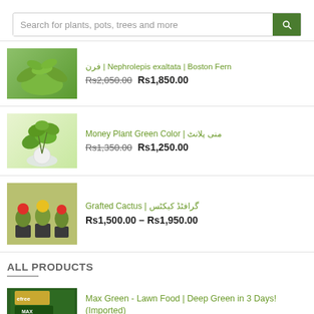[Figure (screenshot): E-commerce plant shop product listing page with search bar and product items]
Nephrolepis exaltata | Boston Fern | فرن
Rs2,050.00  Rs1,850.00
Money Plant Green Color | منی پلانٹ
Rs1,350.00  Rs1,250.00
Grafted Cactus | گرافٹڈ کیکٹس
Rs1,500.00 – Rs1,950.00
ALL PRODUCTS
Max Green - Lawn Food | Deep Green in 3 Days! (Imported)
Rs1,850.00 – Rs4,400.00
Free Shipping (Limited Time Offer)